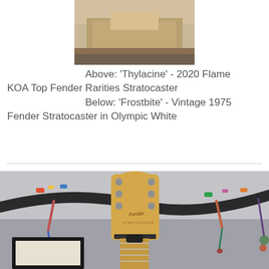[Figure (photo): Top portion of a guitar or box, partially visible, cropped photo at top of page]
Above: 'Thylacine' - 2020 Flame KOA Top Fender Rarities Stratocaster
Below: 'Frostbite' - Vintage 1975 Fender Stratocaster in Olympic White
[Figure (photo): Photo of a Fender Stratocaster guitar headstock mounted on a wall, with decorative items in the background]